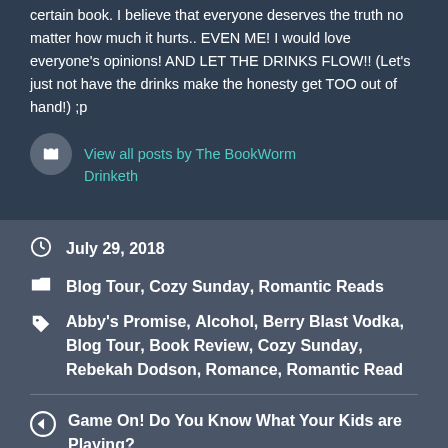certain book. I believe that everyone deserves the truth no matter how much it hurts.. EVEN ME! I would love everyone's opinions! AND LET THE DRINKS FLOW!! (Let's just not have the drinks make the honesty get TOO out of hand!) ;p
View all posts by The BookWorm Drinketh
July 29, 2018
Blog Tour, Cozy Sunday, Romantic Reads
Abby's Promise, Alcohol, Berry Blast Vodka, Blog Tour, Book Review, Cozy Sunday, Rebekah Dodson, Romance, Romantic Read
Game On! Do You Know What Your Kids are Playing?